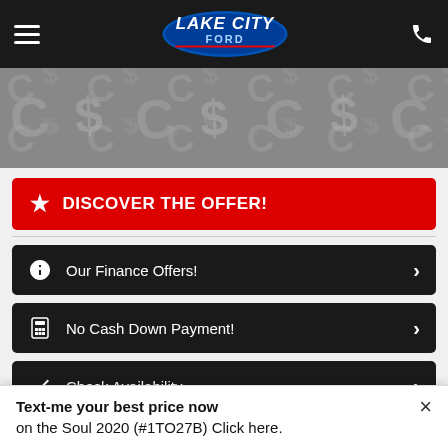Lake City Ford — navigation header
[Figure (photo): Car image banner with repeating letter pattern in grayscale]
★ DISCOVER THE OFFER!
💵 Our Finance Offers! ›
🗒 No Cash Down Payment! ›
✔ Check Availability ›
2020 KIA SOUL EX
Model: Soul
Text-me your best price now on the Soul 2020 (#1TO27B) Click here. ×